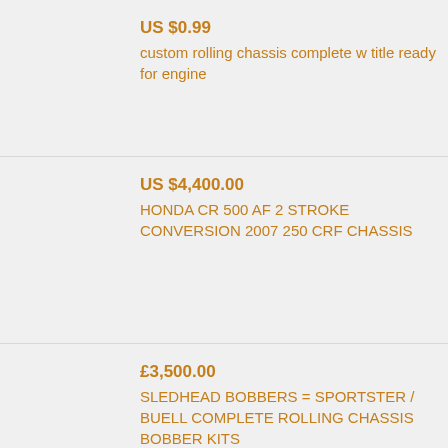US $0.99
custom rolling chassis complete w title ready for engine
US $4,400.00
HONDA CR 500 AF 2 STROKE CONVERSION 2007 250 CRF CHASSIS
£3,500.00
SLEDHEAD BOBBERS = SPORTSTER / BUELL COMPLETE ROLLING CHASSIS BOBBER KITS